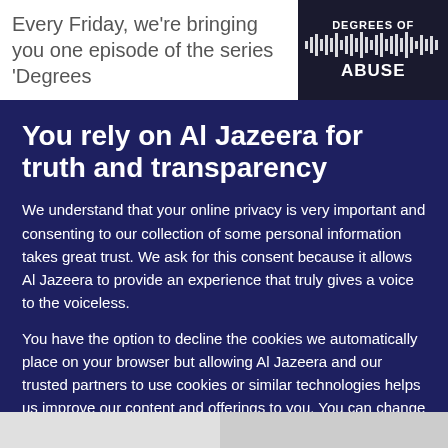Every Friday, we're bringing you one episode of the series 'Degrees
[Figure (illustration): Podcast logo for 'Degrees of Abuse' with stylized waveform/bar chart graphic on dark background]
You rely on Al Jazeera for truth and transparency
We understand that your online privacy is very important and consenting to our collection of some personal information takes great trust. We ask for this consent because it allows Al Jazeera to provide an experience that truly gives a voice to the voiceless.
You have the option to decline the cookies we automatically place on your browser but allowing Al Jazeera and our trusted partners to use cookies or similar technologies helps us improve our content and offerings to you. You can change your privacy preferences at any time by selecting 'Cookie preferences' at the bottom of your screen. To learn more, please view our Cookie Policy.